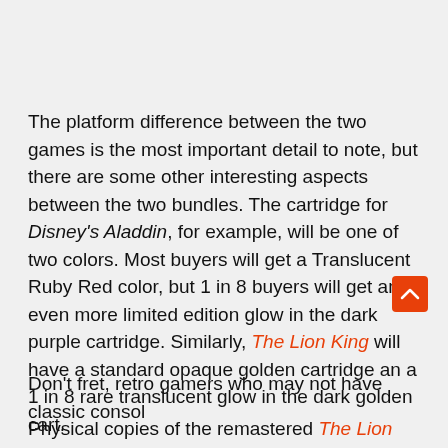The platform difference between the two games is the most important detail to note, but there are some other interesting aspects between the two bundles. The cartridge for Disney's Aladdin, for example, will be one of two colors. Most buyers will get a Translucent Ruby Red color, but 1 in 8 buyers will get an even more limited edition glow in the dark purple cartridge. Similarly, The Lion King will have a standard opaque golden cartridge an a 1 in 8 rare translucent glow in the dark golden cart.
Don't fret, retro gamers who may not have classic consoles. Physical copies of the remastered The Lion King and